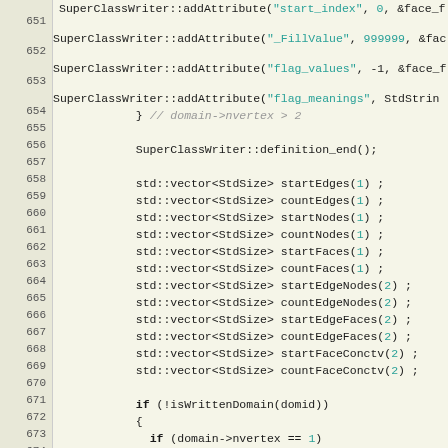[Figure (screenshot): Source code listing in C++ showing lines 651-679, with syntax highlighting. Code shows SuperClassWriter method calls, vector declarations, and conditional logic with domain->nvertex checks.]